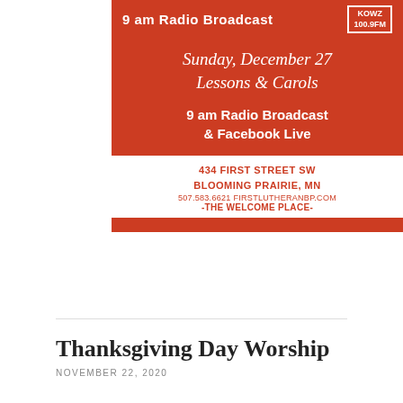[Figure (infographic): Church advertisement on red/terracotta background. Top: '9 am Radio Broadcast' with KOWZ 100.9FM badge. Middle: script text 'Sunday, December 27 Lessons & Carols' and '9 am Radio Broadcast & Facebook Live'. Bottom white section: '434 FIRST STREET SW BLOOMING PRAIRIE, MN 507.583.6621 FIRSTLUTHERANBP.COM -THE WELCOME PLACE-'. Red stripe at bottom.]
Thanksgiving Day Worship
NOVEMBER 22, 2020